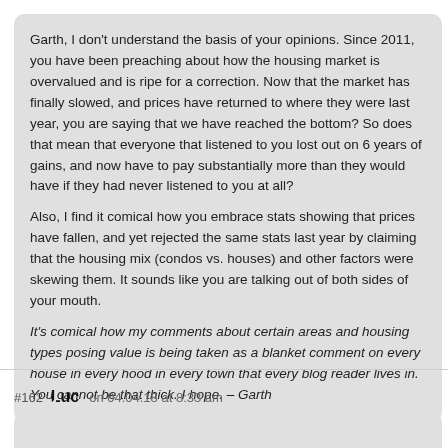Garth, I don't understand the basis of your opinions. Since 2011, you have been preaching about how the housing market is overvalued and is ripe for a correction. Now that the market has finally slowed, and prices have returned to where they were last year, you are saying that we have reached the bottom? So does that mean that everyone that listened to you lost out on 6 years of gains, and now have to pay substantially more than they would have if they had never listened to you at all?

Also, I find it comical how you embrace stats showing that prices have fallen, and yet rejected the same stats last year by claiming that the housing mix (condos vs. houses) and other factors were skewing them. It sounds like you are talking out of both sides of your mouth.

It's comical how my comments about certain areas and housing types posing value is being taken as a blanket comment on every house in every hood in every town that every blog reader lives in. You cannot be that thick. I hope. – Garth
#162  Luc  on 04.04.18 at 8:33 am